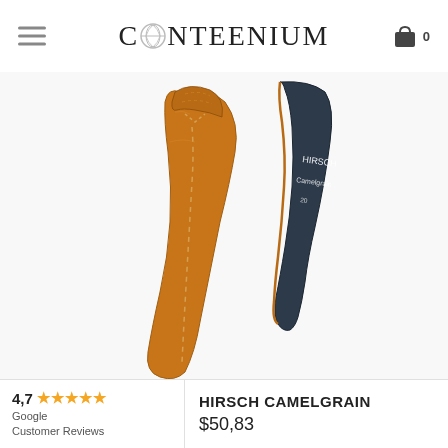CONTEENIUM
[Figure (photo): A tan/camel-colored leather watch strap (Hirsch Camelgrain) shown from both sides — the front face is smooth tan leather with stitching detail, and the back side is dark navy/black, with 'HIRSCH Camelgrain' branding visible on the back.]
4,7 ★★★★★ Google Customer Reviews
HIRSCH CAMELGRAIN
$50,83